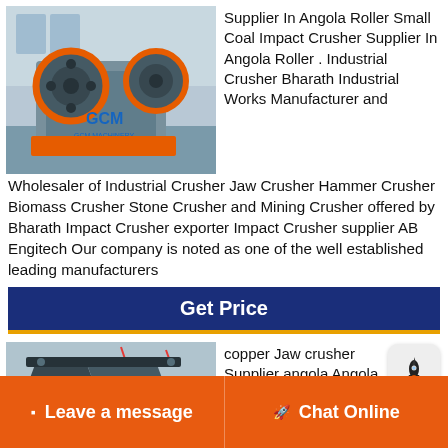[Figure (photo): Industrial jaw crusher machine in a factory, with GCM Machinery logo]
Supplier In Angola Roller Small Coal Impact Crusher Supplier In Angola Roller . Industrial Crusher Bharath Industrial Works Manufacturer and Wholesaler of Industrial Crusher Jaw Crusher Hammer Crusher Biomass Crusher Stone Crusher and Mining Crusher offered by Bharath Impact Crusher exporter Impact Crusher supplier AB Engitech Our company is noted as one of the well established leading manufacturers
Get Price
[Figure (photo): Industrial jaw crusher machine, dark metallic, in a facility]
copper Jaw crusher Supplier angola Angola Copper Ore
Leave a message
Chat Online